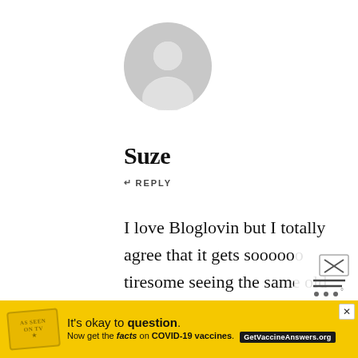[Figure (illustration): Gray circular default user avatar icon with a person silhouette]
Suze
↵  REPLY
I love Bloglovin but I totally agree that it gets soooooo tiresome seeing the same old ‘big’ bloggers being promoted all the time when I’m always on the lookout for something new (especially when bloggers are being lauded for posts which appear to have taken
[Figure (infographic): Yellow advertisement banner: It's okay to question. Now get the facts on COVID-19 vaccines. GetVaccineAnswers.org]